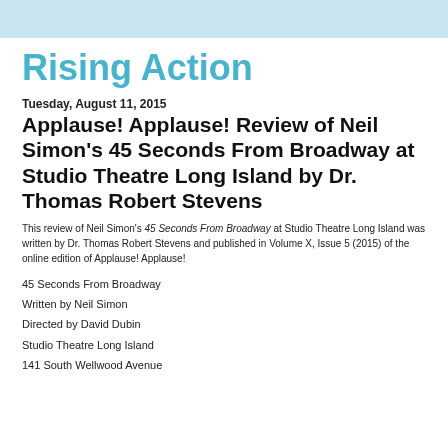Rising Action
Tuesday, August 11, 2015
Applause! Applause! Review of Neil Simon's 45 Seconds From Broadway at Studio Theatre Long Island by Dr. Thomas Robert Stevens
This review of Neil Simon's 45 Seconds From Broadway at Studio Theatre Long Island was written by Dr. Thomas Robert Stevens and published in Volume X, Issue 5 (2015) of the online edition of Applause! Applause!
45 Seconds From Broadway
Written by Neil Simon
Directed by David Dubin
Studio Theatre Long Island
141 South Wellwood Avenue